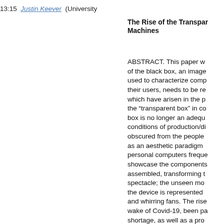13:15  Justin Keever  (University
The Rise of the Transparent Machines
ABSTRACT. This paper w of the black box, an image used to characterize comp their users, needs to be re which have arisen in the p the “transparent box” in co box is no longer an adequ conditions of production/di obscured from the people as an aesthetic paradigm personal computers freque showcase the components assembled, transforming t spectacle; the unseen mo the device is represented and whirring fans. The rise wake of Covid-19, been pa shortage, as well as a pro the critical consciousness ideology of the transparen commodity inward, further